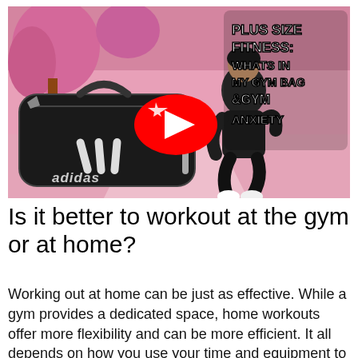[Figure (screenshot): YouTube video thumbnail for 'Plus Size Fitness: Whats In My Gym Bag & Gym Anxiety'. Shows a woman running outdoors on a pink-tinted background, with a large black Adidas gym bag in the foreground. A red YouTube play button is overlaid in the center. White bold text on the right reads 'PLUS SIZE FITNESS: WHATS IN MY GYM BAG &GYM ANXIETY'.]
Is it better to workout at the gym or at home?
Working out at home can be just as effective. While a gym provides a dedicated space, home workouts offer more flexibility and can be more efficient. It all depends on how you use your time and equipment to maximize